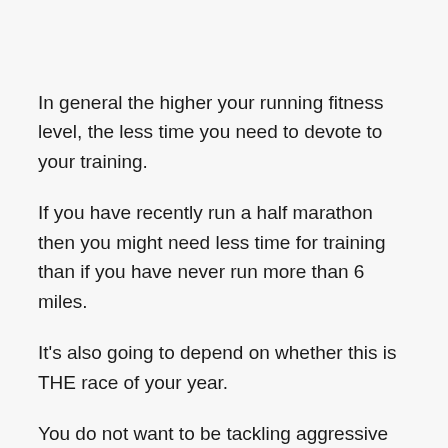In general the higher your running fitness level, the less time you need to devote to your training.
If you have recently run a half marathon then you might need less time for training than if you have never run more than 6 miles.
It’s also going to depend on whether this is THE race of your year.
You do not want to be tackling aggressive marathon race goals more than once or twice a year.